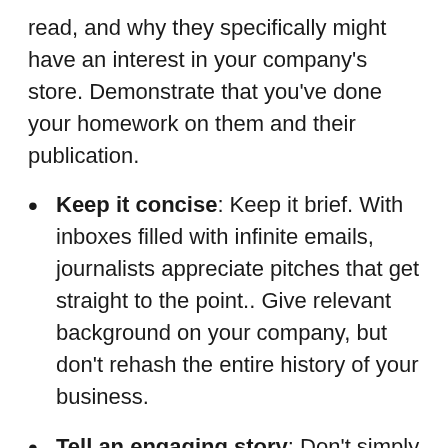read, and why they specifically might have an interest in your company's store. Demonstrate that you've done your homework on them and their publication.
Keep it concise: Keep it brief. With inboxes filled with infinite emails, journalists appreciate pitches that get straight to the point.. Give relevant background on your company, but don't rehash the entire history of your business.
Tell an engaging story: Don't simply ask to be featured and written about. Instead, Include the most interesting details about your business and use your pitch to tell a story. Consider including compelling quotes from customers about your product or